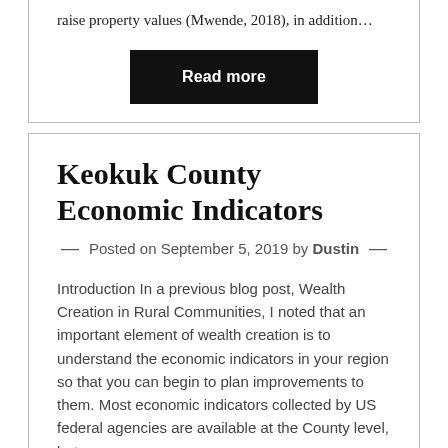raise property values (Mwende, 2018), in addition…
Read more
Keokuk County Economic Indicators
Posted on September 5, 2019 by Dustin
Introduction In a previous blog post, Wealth Creation in Rural Communities, I noted that an important element of wealth creation is to understand the economic indicators in your region so that you can begin to plan improvements to them. Most economic indicators collected by US federal agencies are available at the County level, but some are…
Read more